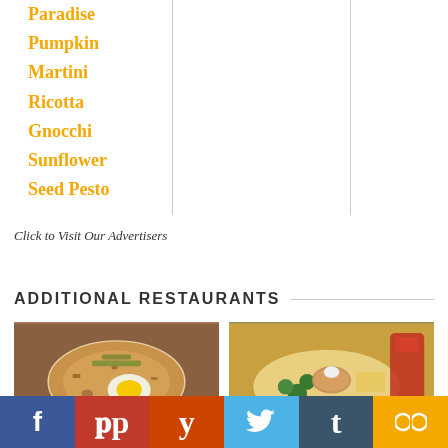Paradise
Pumpkin Martini
Ricotta
Gnocchi
Sunflower Seed Pesto
Click to Visit Our Advertisers
ADDITIONAL RESTAURANTS
[Figure (photo): Food photo: a dish with fried egg, hash browns and toppings on a plate]
[Figure (photo): Food photo: crab cakes with brussels sprouts and a red drink]
[Figure (infographic): Social media share bar with Facebook, Pinterest, Yummly, Twitter, Tumblr, and a chain-link icon]